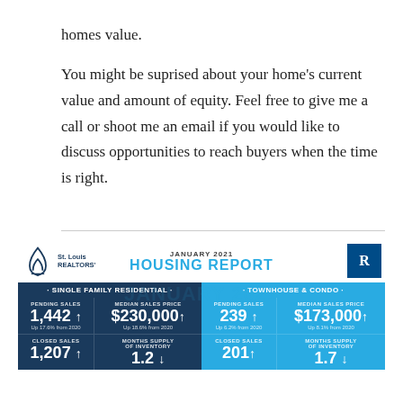homes value.
You might be suprised about your home’s current value and amount of equity. Feel free to give me a call or shoot me an email if you would like to discuss opportunities to reach buyers when the time is right.
[Figure (infographic): St. Louis REALTORS January 2021 Housing Report infographic showing Single Family Residential and Townhouse & Condo statistics: Pending Sales 1,442 up 17.6% from 2020; Median Sales Price $230,000 up 18.6% from 2020; Pending Sales 239 up 6.2% from 2020; Median Sales Price $173,000 up 8.1% from 2020; Closed Sales 1,207 up; Months Supply of Inventory 1.2 down; Closed Sales 201 up; Months Supply of Inventory 1.7 down.]